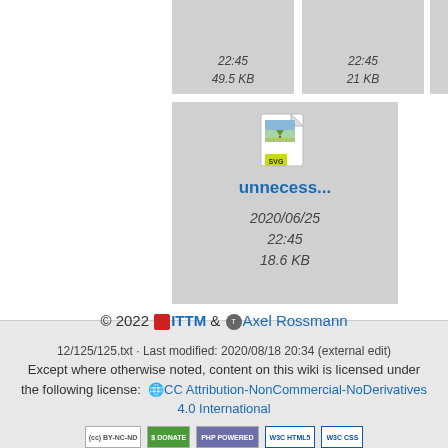[Figure (screenshot): File browser thumbnail view showing SVG file icon with filename 'unnecess...' dated 2020/06/25 22:45, 18.6 KB, plus two other partially visible file tiles showing 22:45, 49.5 KB and 22:45, 21 KB]
© 2022 ITTM & Axel Rossmann
12/125/125.txt · Last modified: 2020/08/18 20:34 (external edit)
Except where otherwise noted, content on this wiki is licensed under the following license: CC Attribution-NonCommercial-NoDerivatives 4.0 International